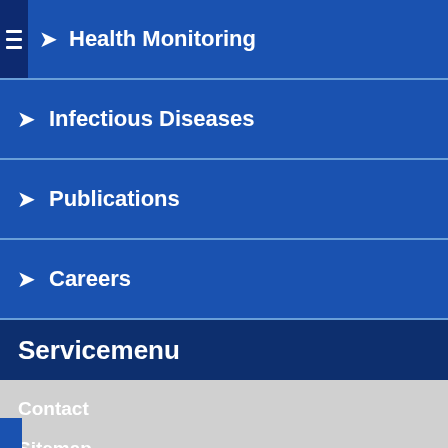Health Monitoring
Infectious Diseases
Publications
Careers
Servicemenu
Contact
Sitemap
Imprint
Data Privacy Statement
Use of cookies